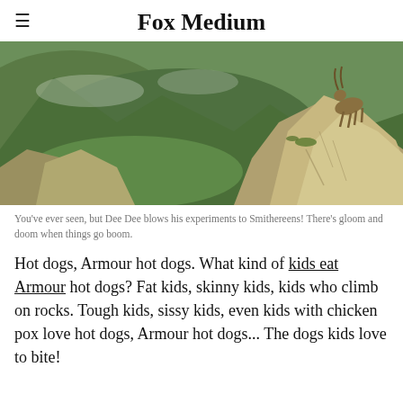Fox Medium
[Figure (photo): A mountain ibex standing on a rocky cliff edge with a dramatic Alpine valley and green mountain slopes in the background.]
You've ever seen, but Dee Dee blows his experiments to Smithereens! There's gloom and doom when things go boom.
Hot dogs, Armour hot dogs. What kind of kids eat Armour hot dogs? Fat kids, skinny kids, kids who climb on rocks. Tough kids, sissy kids, even kids with chicken pox love hot dogs, Armour hot dogs... The dogs kids love to bite!